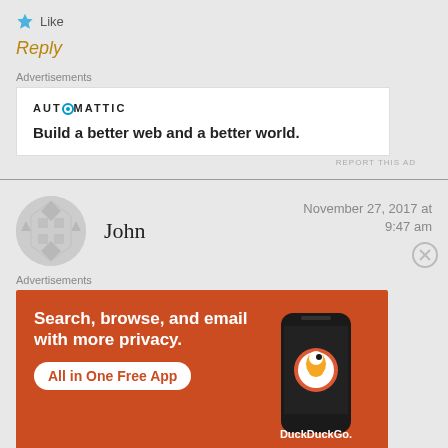Like
Reply
Advertisements
[Figure (screenshot): Automattic advertisement: 'Build a better web and a better world.']
REPORT THIS AD
John
November 27, 2017 at 9:47 am
Advertisements
[Figure (screenshot): DuckDuckGo advertisement: 'Search, browse, and email with more privacy. All in One Free App']